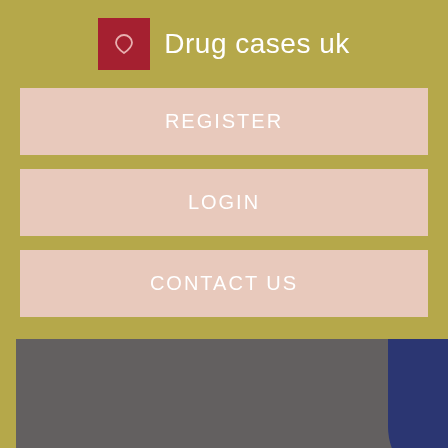Drug cases uk
REGISTER
LOGIN
CONTACT US
[Figure (photo): A gray and dark blue background image, partially visible, with a gray rectangular area on the left and a dark navy blue curved shape on the right.]
It's basically the first stop for those entering the dating world. If you want to play the odds when it comes to online dating, you need to be swiping where everyone's swiping. On the upside, the